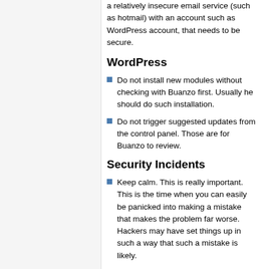a relatively insecure email service (such as hotmail) with an account such as WordPress account, that needs to be secure.
WordPress
Do not install new modules without checking with Buanzo first. Usually he should do such installation.
Do not trigger suggested updates from the control panel. Those are for Buanzo to review.
Security Incidents
Keep calm. This is really important. This is the time when you can easily be panicked into making a mistake that makes the problem far worse. Hackers may have set things up in such a way that such a mistake is likely.
Be paranoid, but kind. Enquiries about the incident may be from hackers looking to get clearer information on what you do and don't know about the incident. Emails may